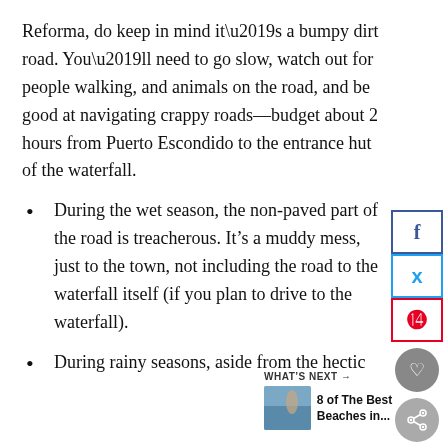Reforma, do keep in mind it’s a bumpy dirt road. You’ll need to go slow, watch out for people walking, and animals on the road, and be good at navigating crappy roads—budget about 2 hours from Puerto Escondido to the entrance hut of the waterfall.
During the wet season, the non-paved part of the road is treacherous. It’s a muddy mess, just to the town, not including the road to the waterfall itself (if you plan to drive to the waterfall).
During rainy seasons, aside from the hectic